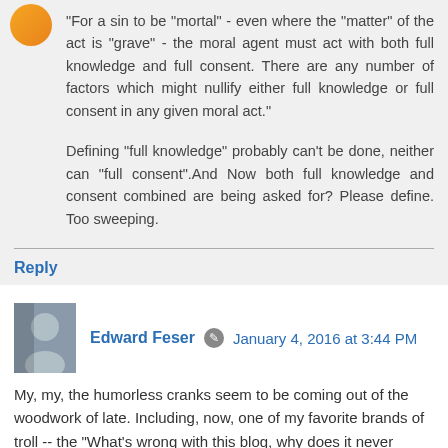"For a sin to be "mortal" - even where the "matter" of the act is "grave" - the moral agent must act with both full knowledge and full consent. There are any number of factors which might nullify either full knowledge or full consent in any given moral act."
Defining "full knowledge" probably can't be done, neither can "full consent".And Now both full knowledge and consent combined are being asked for? Please define. Too sweeping.
Reply
Edward Feser · January 4, 2016 at 3:44 PM
My, my, the humorless cranks seem to be coming out of the woodwork of late. Including, now, one of my favorite brands of troll -- the "What's wrong with this blog, why does it never address my personal pet issue??" kind. Which, apparently, in this case is self-abuse, of all things.